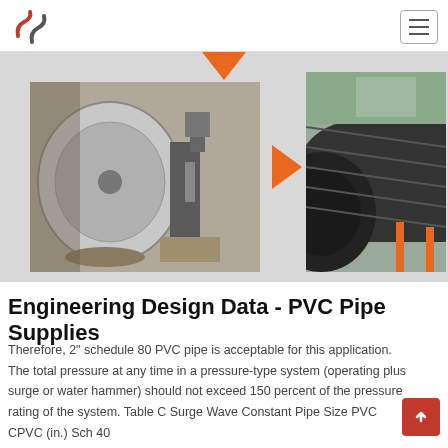UN logo and hamburger menu navigation header
[Figure (photo): Industrial pipe manufacturing process photos: left photo shows metal pipe cutting/machining operation with large circular blade; right photo shows large diameter spiral welded steel pipe in a factory setting with orange arrow connectors indicating process flow steps]
Engineering Design Data - PVC Pipe Supplies
Therefore, 2" schedule 80 PVC pipe is acceptable for this application. The total pressure at any time in a pressure-type system (operating plus surge or water hammer) should not exceed 150 percent of the pressure rating of the system. Table C Surge Wave Constant Pipe Size PVC CPVC (in.) Sch 40